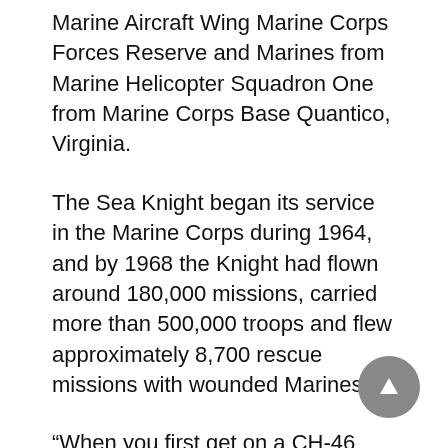Marine Aircraft Wing Marine Corps Forces Reserve and Marines from Marine Helicopter Squadron One from Marine Corps Base Quantico, Virginia.
The Sea Knight began its service in the Marine Corps during 1964, and by 1968 the Knight had flown around 180,000 missions, carried more than 500,000 troops and flew approximately 8,700 rescue missions with wounded Marines.
“When you first get on a CH-46 you know it is a well maintained aircraft and after [you] learn about the systems, and how the aircraft works, it becomes almost like a second home to you,” said Lt. Col. John Sarno, the executive officer of Marine Helicopter Squadron One. “Just the design of the aircraft makes it very forgiving